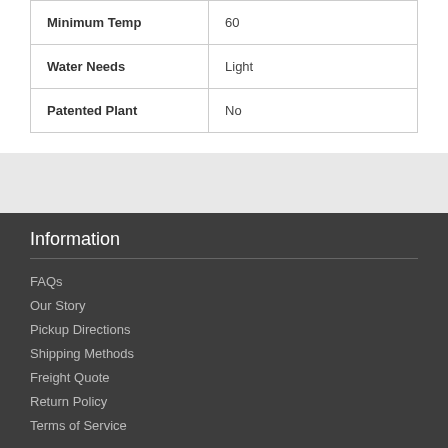| Minimum Temp | 60 |
| Water Needs | Light |
| Patented Plant | No |
Information
FAQs
Our Story
Pickup Directions
Shipping Methods
Freight Quote
Return Policy
Terms of Service